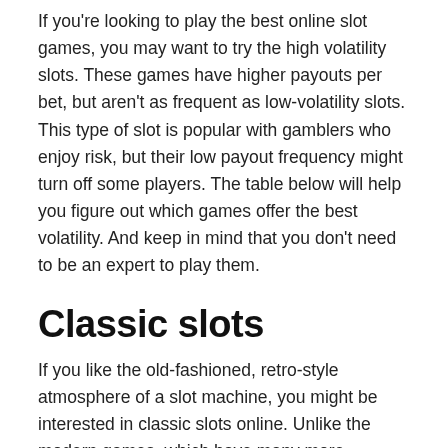If you're looking to play the best online slot games, you may want to try the high volatility slots. These games have higher payouts per bet, but aren't as frequent as low-volatility slots. This type of slot is popular with gamblers who enjoy risk, but their low payout frequency might turn off some players. The table below will help you figure out which games offer the best volatility. And keep in mind that you don't need to be an expert to play them.
Classic slots
If you like the old-fashioned, retro-style atmosphere of a slot machine, you might be interested in classic slots online. Unlike the modern games, which have many more symbols and themes, classic slots still